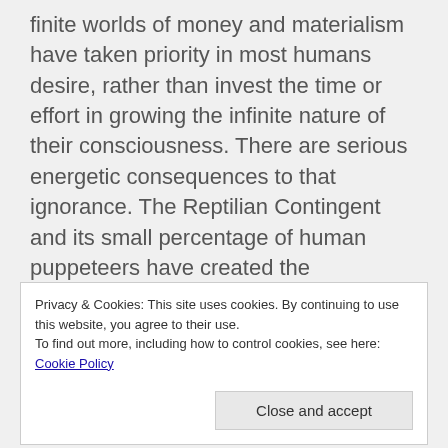finite worlds of money and materialism have taken priority in most humans desire, rather than invest the time or effort in growing the infinite nature of their consciousness. There are serious energetic consequences to that ignorance. The Reptilian Contingent and its small percentage of human puppeteers have created the organizations that became the corrupted priesthood that humans now worship on the altar of materialism. As they consume our planetary resources and steal human
Privacy & Cookies: This site uses cookies. By continuing to use this website, you agree to their use. To find out more, including how to control cookies, see here: Cookie Policy
Close and accept
live on this planet with a sense of well being and